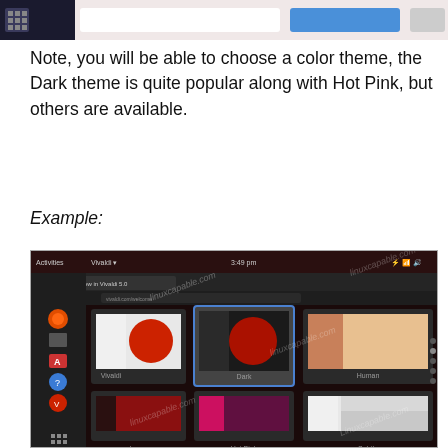[Figure (screenshot): Top portion of a UI screenshot showing a dark application bar with icons and a button]
Note, you will be able to choose a color theme, the Dark theme is quite popular along with Hot Pink, but others are available.
Example:
[Figure (screenshot): Screenshot of Vivaldi browser showing a theme selection dialog with multiple color themes: Vivaldi, Dark, Human, Isuna, Hot Pink, Subtle, and two more partially visible themes at the bottom. Watermarked with linuxcapable.com]